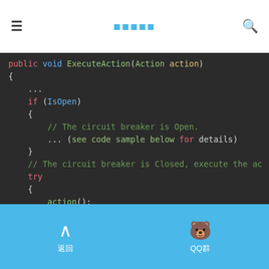☰  ■■■■■  🔍
[Figure (screenshot): Code snippet showing C# ExecuteAction method with circuit breaker pattern. Dark background code editor theme. Shows public void ExecuteAction(Action action), if (IsOpen) check with comment, try/catch block with action(), catch(Exception ex) with this.TrackException(ex) and comment about rethrip and throw.]
返回  QQ群